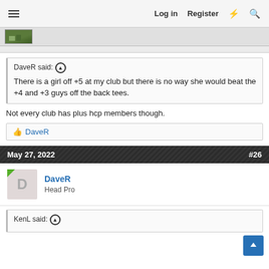Log in  Register
[Figure (screenshot): Thumbnail image bar with small landscape photo]
DaveR said: ↑
There is a girl off +5 at my club but there is no way she would beat the +4 and +3 guys off the back tees.
Not every club has plus hcp members though.
👍 DaveR
May 27, 2022  #26
DaveR
Head Pro
KenL said: ↑